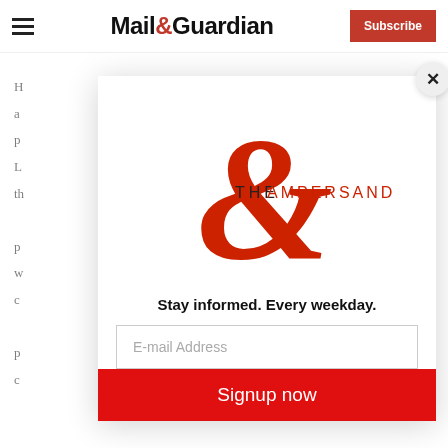Mail&Guardian — Subscribe
H... a... p... L... th... p... w... c... p... c...
[Figure (logo): The Ampersand — Mail & Guardian newsletter logo with large red ampersand and text 'THE AMPERSAND']
Stay informed. Every weekday.
E-mail Address
Signup now